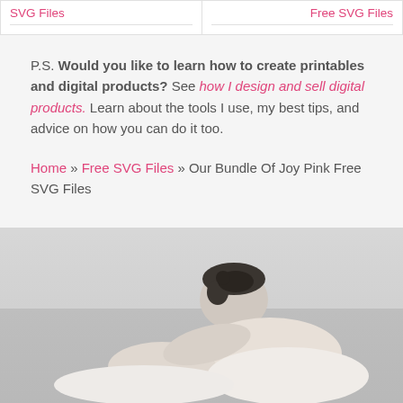SVG Files | Free SVG Files
P.S. Would you like to learn how to create printables and digital products? See how I design and sell digital products. Learn about the tools I use, my best tips, and advice on how you can do it too.
Home » Free SVG Files » Our Bundle Of Joy Pink Free SVG Files
[Figure (photo): Black and white photo of a baby or young child lying down]